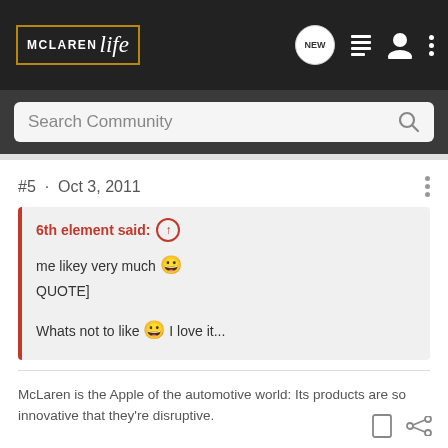McLaren Life — Search Community navigation bar
#5 · Oct 3, 2011
6th element said: ↑
me likey very much 😀
QUOTE]

Whats not to like 😀 I love it...
McLaren is the Apple of the automotive world: Its products are so innovative that they're disruptive.